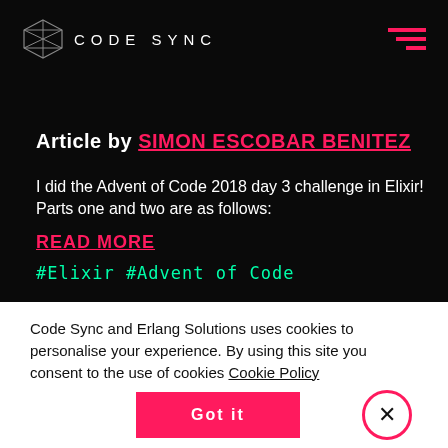CODE SYNC
Article by SIMON ESCOBAR BENITEZ
I did the Advent of Code 2018 day 3 challenge in Elixir! Parts one and two are as follows:
READ MORE
#Elixir  #Advent of Code
Code Sync and Erlang Solutions uses cookies to personalise your experience. By using this site you consent to the use of cookies Cookie Policy
Got it
×